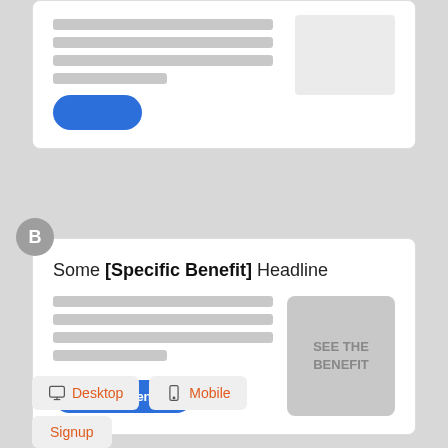[Figure (screenshot): Wireframe mockup of web page variant B showing a card with headline 'Some [Specific Benefit] Headline', placeholder text lines, a blue CTA button 'Get The Benefit', an image placeholder labeled 'SEE THE BENEFIT', plus Desktop, Mobile, and Signup filter buttons below.]
Some [Specific Benefit] Headline
Get The Benefit
SEE THE BENEFIT
Desktop
Mobile
Signup